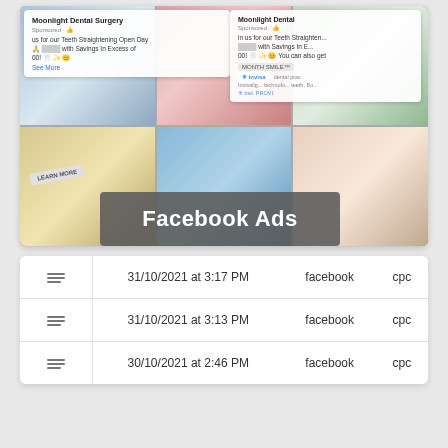[Figure (photo): Collage of Facebook dental surgery ads showing 'Moonlight Dental Surgery' sponsored posts with text about Teeth Straightening Open Day with savings, couple smiling photos, Invisalign branding, product images, and smile photos. A dark semi-transparent banner at the bottom reads 'Facebook Ads' in white text.]
|  | Date | Source | Type |
| --- | --- | --- | --- |
| ☰ | 31/10/2021 at 3:17 PM | facebook | cpc |
| ☰ | 31/10/2021 at 3:13 PM | facebook | cpc |
| ☰ | 30/10/2021 at 2:46 PM | facebook | cpc |